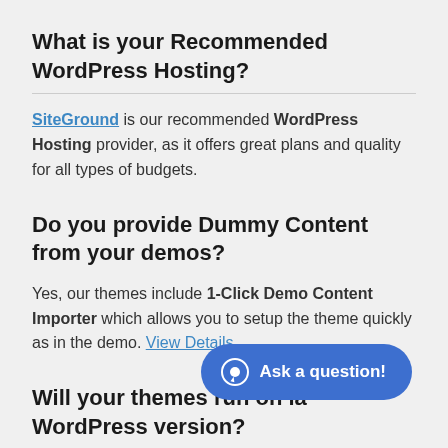What is your Recommended WordPress Hosting?
SiteGround is our recommended WordPress Hosting provider, as it offers great plans and quality for all types of budgets.
Do you provide Dummy Content from your demos?
Yes, our themes include 1-Click Demo Content Importer which allows you to setup the theme quickly as in the demo. View Details.
Will your themes run on la WordPress version?
[Figure (other): Blue chat button with speech bubble icon and text 'Ask a question!']